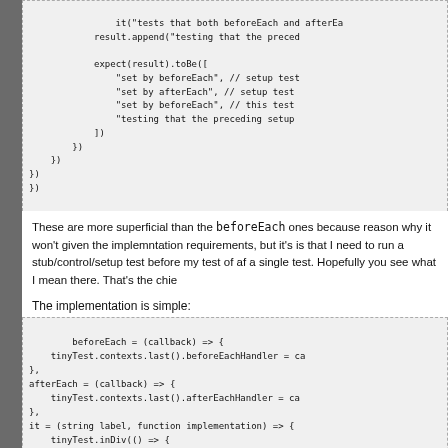[Figure (screenshot): Code block showing closing brackets of a test: it(), expect(result).toBe([...]), }), }), })]
These are more superficial than the beforeEach ones because reason why it won't given the implemntation requirements, but it's is that I need to run a stub/control/setup test before my test of af a single test. Hopefully you see what I mean there. That's the chie
The implementation is simple:
[Figure (screenshot): Code block showing beforeEach, afterEach, and it function implementations using tinyTest]